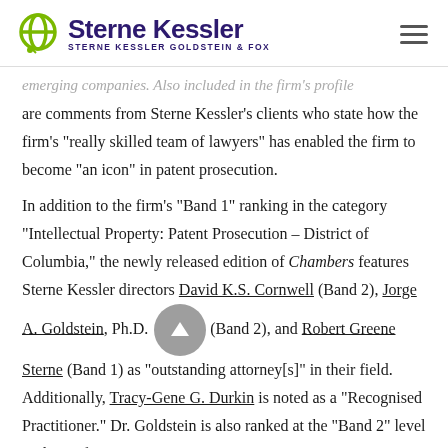Sterne Kessler | STERNE KESSLER GOLDSTEIN & FOX
emerging companies. Also included in the firm's profile are comments from Sterne Kessler's clients who state how the firm's "really skilled team of lawyers" has enabled the firm to become "an icon" in patent prosecution.
In addition to the firm's "Band 1" ranking in the category "Intellectual Property: Patent Prosecution – District of Columbia," the newly released edition of Chambers features Sterne Kessler directors David K.S. Cornwell (Band 2), Jorge A. Goldstein, Ph.D. (Band 2), and Robert Greene Sterne (Band 1) as "outstanding attorney[s]" in their field. Additionally, Tracy-Gene G. Durkin is noted as a "Recognised Practitioner." Dr. Goldstein is also ranked at the "Band 2" level in the "Life